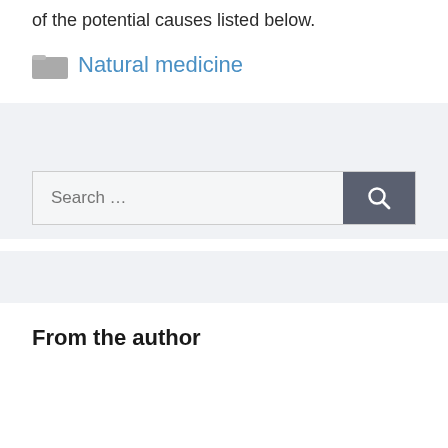of the potential causes listed below.
Natural medicine
[Figure (screenshot): Search bar with text 'Search ...' and a dark gray search button with magnifying glass icon]
From the author